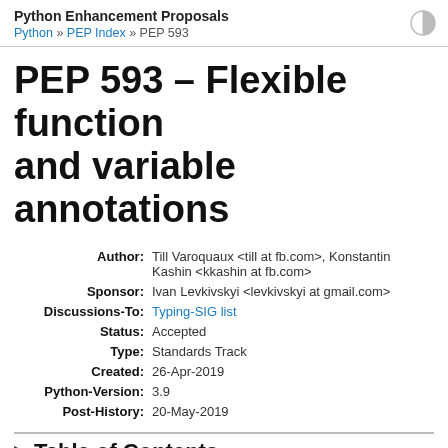Python Enhancement Proposals
Python » PEP Index » PEP 593
PEP 593 – Flexible function and variable annotations
| Author: | Till Varoquaux <till at fb.com>, Konstantin Kashin <kkashin at fb.com> |
| Sponsor: | Ivan Levkivskyi <levkivskyi at gmail.com> |
| Discussions-To: | Typing-SIG list |
| Status: | Accepted |
| Type: | Standards Track |
| Created: | 26-Apr-2019 |
| Python-Version: | 3.9 |
| Post-History: | 20-May-2019 |
Table of Contents